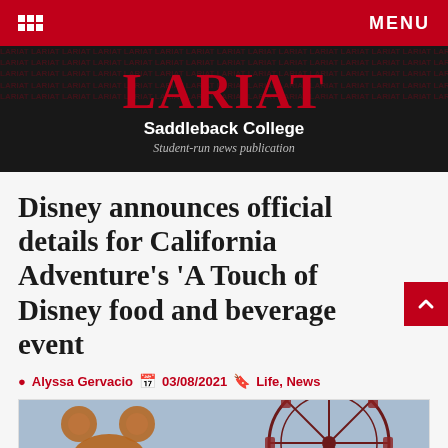LARIAT Saddleback College Student-run news publication
Disney announces official details for California Adventure's 'A Touch of Disney food and beverage event
Alyssa Gervacio  03/08/2021  Life, News
[Figure (photo): Photo showing a Mickey Mouse shaped pretzel on the left and a Ferris wheel (California Adventure's Paradise Pier Ferris wheel) on the right against a blue sky background.]